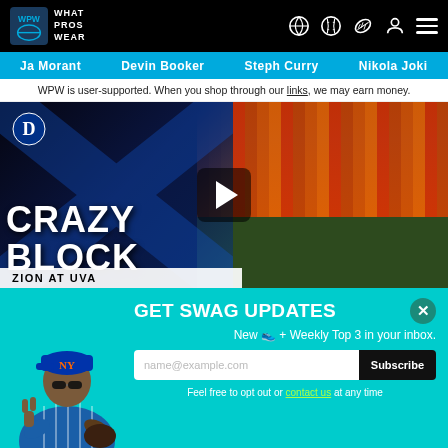WPW WHAT PROS WEAR
Ja Morant   Devin Booker   Steph Curry   Nikola Joki
WPW is user-supported. When you shop through our links, we may earn money.
[Figure (screenshot): Video thumbnail showing Duke basketball CRAZY BLOCK by ZION AT UVA with play button overlay and basketball game action photo]
[Figure (photo): NY Mets baseball player in blue pinstripe uniform making peace sign gesture]
GET SWAG UPDATES
New 👟 + Weekly Top 3 in your inbox.
name@example.com
Subscribe
Feel free to opt out or contact us at any time